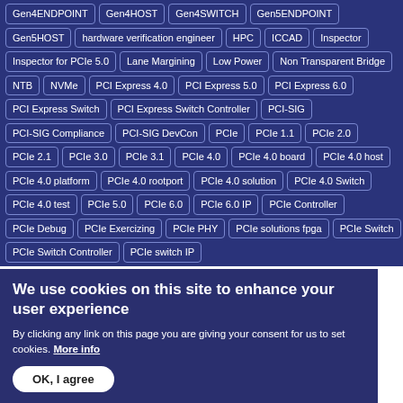Tags: Gen4ENDPOINT, Gen4HOST, Gen4SWITCH, Gen5ENDPOINT, Gen5HOST, hardware verification engineer, HPC, ICCAD, Inspector, Inspector for PCIe 5.0, Lane Margining, Low Power, Non Transparent Bridge, NTB, NVMe, PCI Express 4.0, PCI Express 5.0, PCI Express 6.0, PCI Express Switch, PCI Express Switch Controller, PCI-SIG, PCI-SIG Compliance, PCI-SIG DevCon, PCIe, PCIe 1.1, PCIe 2.0, PCIe 2.1, PCIe 3.0, PCIe 3.1, PCIe 4.0, PCIe 4.0 board, PCIe 4.0 host, PCIe 4.0 platform, PCIe 4.0 rootport, PCIe 4.0 solution, PCIe 4.0 Switch, PCIe 4.0 test, PCIe 5.0, PCIe 6.0, PCIe 6.0 IP, PCIe Controller, PCIe Debug, PCIe Exercizing, PCIe PHY, PCIe solutions fpga, PCIe Switch, PCIe Switch Controller, PCIe switch IP
We use cookies on this site to enhance your user experience
By clicking any link on this page you are giving your consent for us to set cookies. More info
OK, I agree